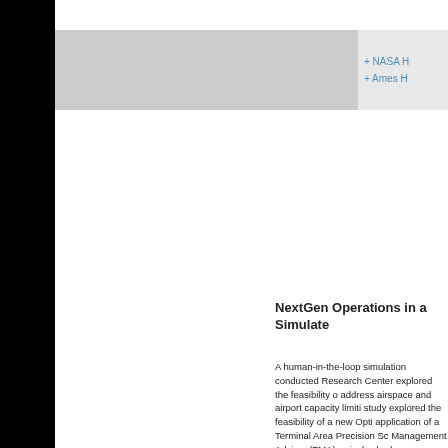+ NASA H
+ Ames H
NextGen Operations in a Simulate
A human-in-the-loop simulation conducted Research Center explored the feasibility o address airspace and airport capacity limiti study explored the feasibility of a new Opti application of a Terminal Area Precision Sc Management Advisor (TMA) arrival schedu runways. In the simulation, four en route s controllers managed traffic inbound to Nev overflow runway, 11. TAPSS was used to g management coordinator participant adju